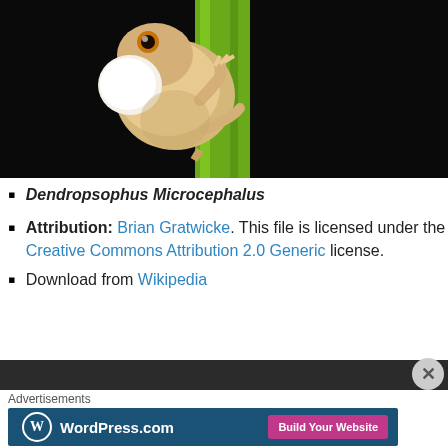[Figure (photo): Close-up photo of a Dendropsophus Microcephalus (small-headed treefrog) clinging to a green plant stem against a black background. The frog is light tan/cream colored with a visible vocal sac.]
Dendropsophus Microcephalus
Attribution: Brian Gratwicke. This file is licensed under the Creative Commons Attribution 2.0 Generic license.
Download from Wikipedia
[Figure (screenshot): WordPress.com advertisement banner with logo and 'Build Your Website' button]